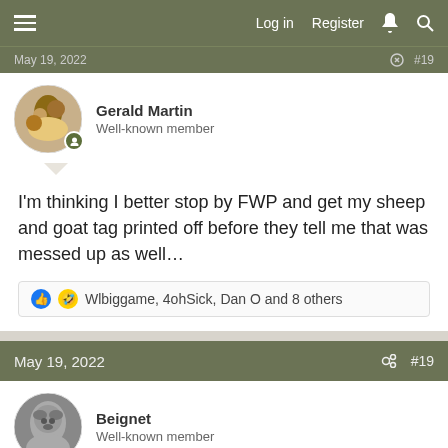Log in  Register
May 19, 2022  #19
Gerald Martin
Well-known member
I'm thinking I better stop by FWP and get my sheep and goat tag printed off before they tell me that was messed up as well…
Wlbiggame, 4ohSick, Dan O and 8 others
May 19, 2022  #19
Beignet
Well-known member
Gerald Martin said: ↑
I'm thinking I better stop by FWP and get my sheep and goat tag